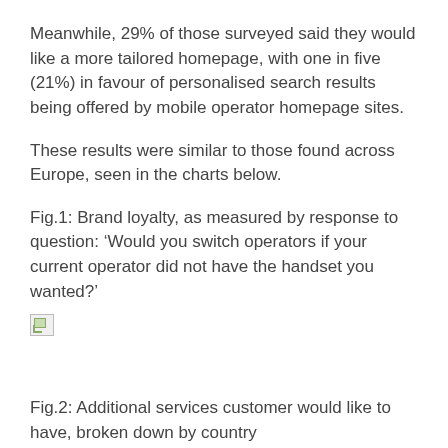Meanwhile, 29% of those surveyed said they would like a more tailored homepage, with one in five (21%) in favour of personalised search results being offered by mobile operator homepage sites.
These results were similar to those found across Europe, seen in the charts below.
Fig.1: Brand loyalty, as measured by response to question: ‘Would you switch operators if your current operator did not have the handset you wanted?’
[Figure (other): Broken/missing image placeholder for Fig.1 chart]
Fig.2: Additional services customer would like to have, broken down by country